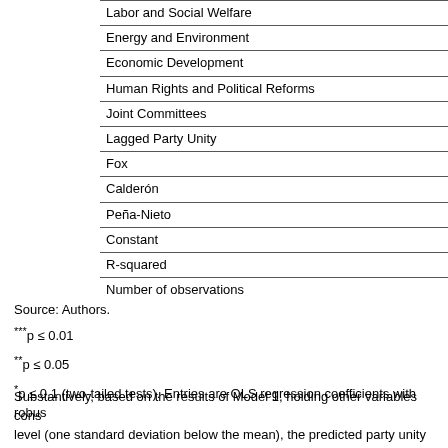| Labor and Social Welfare |
| Energy and Environment |
| Economic Development |
| Human Rights and Political Reforms |
| Joint Committees |
| Lagged Party Unity |
| Fox |
| Calderón |
| Peña-Nieto |
| Constant |
| R-squared |
| Number of observations |
Source: Authors.
***p ≤ 0.01
**p ≤ 0.05
*p ≤ 0.1 (two-tailed tests). Entries are OLS regression coefficients with robust
Substantively, based on the results of Model 1, holding other variables const level (one standard deviation below the mean), the predicted party unity sco presidential approval rate is at a high level (one standard deviation above th percentage points.10 Overall, the evidence presented here supports our me